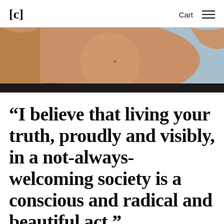[c]  Cart ≡
[Figure (photo): Close-up photo of a person's torso and raised arm, warm skin tones against a light blue background, appearing to be a fashion/lifestyle campaign image.]
“I believe that living your truth, proudly and visibly, in a not-always-welcoming society is a conscious and radical and beautiful act.”